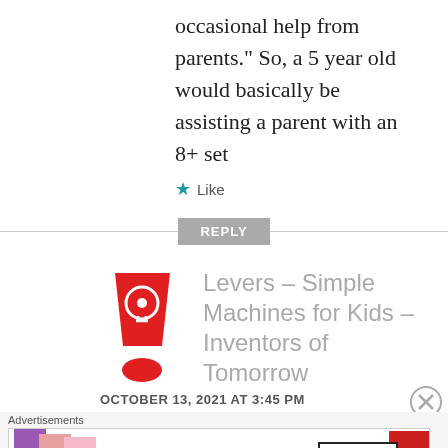occasional help from parents." So, a 5 year old would basically be assisting a parent with an 8+ set
Like
REPLY
[Figure (illustration): Red exclamation mark icon with a lightbulb inside the dot]
Levers – Simple Machines for Kids – Inventors of Tomorrow
OCTOBER 13, 2021 AT 3:45 PM
Advertisements
[Figure (photo): MAC cosmetics advertisement banner showing colorful lipsticks with SHOP NOW button]